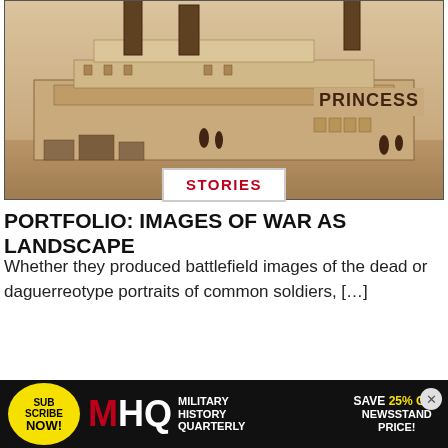[Figure (photo): Sepia-toned historical photograph of a large steamboat named 'PRINCESS' docked at a riverbank, with tall smokestacks and multi-deck structure visible, people and cargo on the shore in the foreground.]
STORIES
PORTFOLIO: IMAGES OF WAR AS LANDSCAPE
Whether they produced battlefield images of the dead or daguerreotype portraits of common soldiers, […]
[Figure (photo): Partially visible advertisement image showing a red curved surface with 'Spirit' text in pink/white cursive and diagonal striped pattern on the right side. Below is a subscription advertisement bar for Military History Quarterly with yellow circle 'SUBSCRIBE NOW!', MHQ logo, and 'SAVE 25% OFF NEWSSTAND PRICE!' text.]